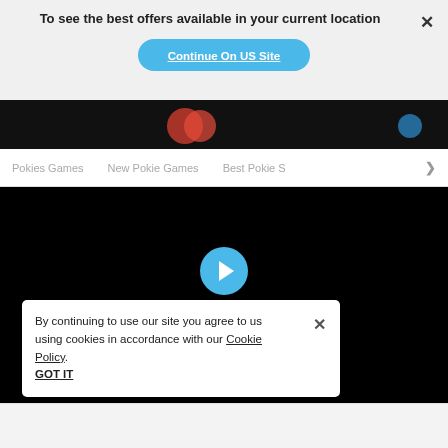To see the best offers available in your current location
Continue On US Site
Pokies Games   New Pokie Games   Best Pokie S >
[Figure (screenshot): Black video player area with blue play button, text 'Play Free Demo' and 'Version Directly in Your Browser']
By continuing to use our site you agree to us using cookies in accordance with our Cookie Policy.
GOT IT